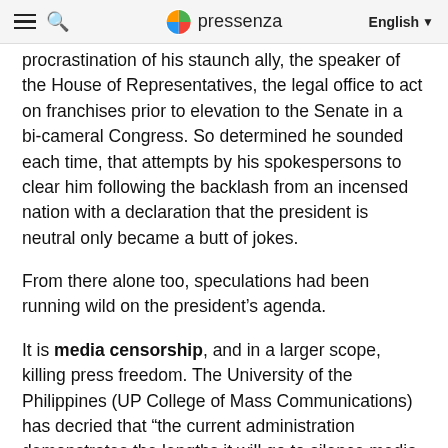pressenza  English
procrastination of his staunch ally, the speaker of the House of Representatives, the legal office to act on franchises prior to elevation to the Senate in a bi-cameral Congress. So determined he sounded each time, that attempts by his spokespersons to clear him following the backlash from an incensed nation with a declaration that the president is neutral only became a butt of jokes.
From there alone too, speculations had been running wild on the president’s agenda.
It is media censorship, and in a larger scope, killing press freedom. The University of the Philippines (UP College of Mass Communications) has decried that “the current administration demonstrates the lengths it will go to silence media critics.” A great, to all